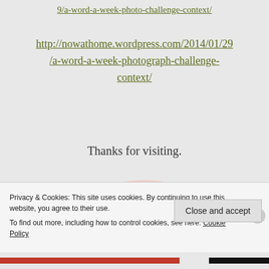9/a-word-a-week-photo-challenge-context/
http://nowathome.wordpress.com/2014/01/29/a-word-a-week-photograph-challenge-context/
Thanks for visiting.
[Figure (illustration): Handwritten cursive text reading 'Cheers and love' with a pink/orange floral watercolor rose background]
Privacy & Cookies: This site uses cookies. By continuing to use this website, you agree to their use.
To find out more, including how to control cookies, see here: Cookie Policy
Close and accept